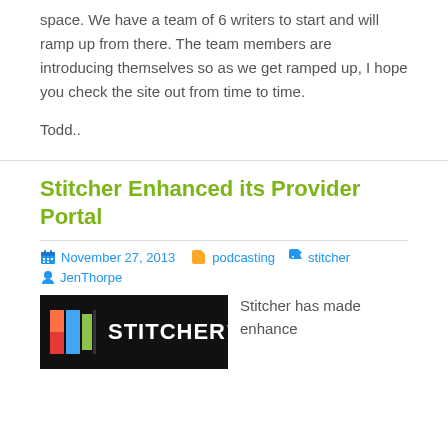space. We have a team of 6 writers to start and will ramp up from there. The team members are introducing themselves so as we get ramped up, I hope you check the site out from time to time.
Todd..
Stitcher Enhanced its Provider Portal
November 27, 2013   podcasting   stitcher   JenThorpe
[Figure (logo): Stitcher logo on black background with colorful blocks (red, orange, blue, green) and white STITCHER text with TM mark]
Stitcher has made enhance